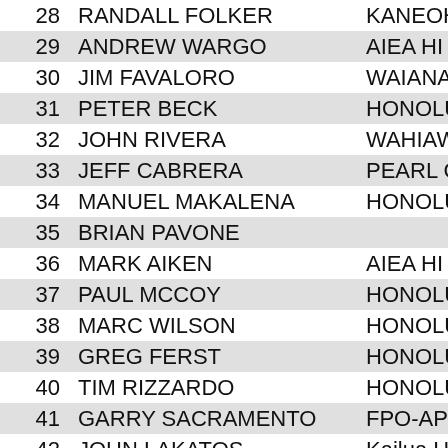| # | Name | City |
| --- | --- | --- |
| 28 | RANDALL FOLKER | KANEOH... |
| 29 | ANDREW WARGO | AIEA HI |
| 30 | JIM FAVALORO | WAIANA... |
| 31 | PETER BECK | HONOLU... |
| 32 | JOHN RIVERA | WAHIAW... |
| 33 | JEFF CABRERA | PEARL C... |
| 34 | MANUEL MAKALENA | HONOLU... |
| 35 | BRIAN PAVONE |  |
| 36 | MARK AIKEN | AIEA HI |
| 37 | PAUL MCCOY | HONOLU... |
| 38 | MARC WILSON | HONOLU... |
| 39 | GREG FERST | HONOLU... |
| 40 | TIM RIZZARDO | HONOLU... |
| 41 | GARRY SACRAMENTO | FPO-AP |
| 42 | JOHN LAKATOS | Kailua HI |
| 43 | RICO BASCUNA |  |
| 44 | BRIAN JONES | KANEOH... |
| 45 | EDWARD SEEMAN | WAIPAH... |